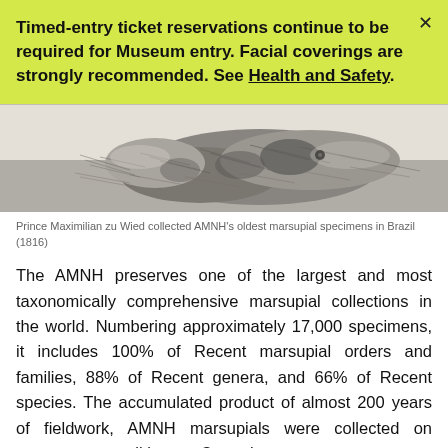Timed-entry ticket reservations continue to be required for Museum entry. Facial coverings are strongly recommended. See Health and Safety.
[Figure (illustration): Sketch/engraving of a marsupial animal, likely an opossum, showing detailed pencil or ink linework of the creature's fur and body]
Prince Maximilian zu Wied collected AMNH's oldest marsupial specimens in Brazil (1816)
The AMNH preserves one of the largest and most taxonomically comprehensive marsupial collections in the world. Numbering approximately 17,000 specimens, it includes 100% of Recent marsupial orders and families, 88% of Recent genera, and 66% of Recent species. The accumulated product of almost 200 years of fieldwork, AMNH marsupials were collected on numerous expeditions to Central